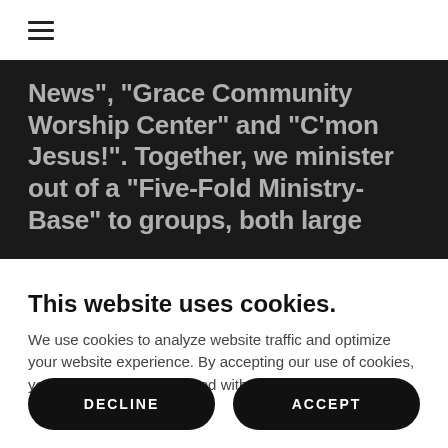☰
News", "Grace Community Worship Center" and "C'mon Jesus!". Together, we minister out of a "Five-Fold Ministry-Base" to groups, both large
This website uses cookies.
We use cookies to analyze website traffic and optimize your website experience. By accepting our use of cookies, your data will be aggregated with all other user data.
DECLINE
ACCEPT